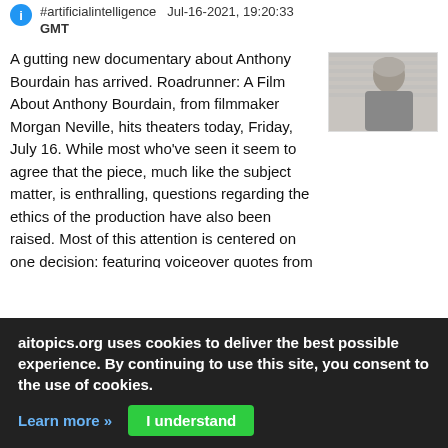#artificialintelligence · Jul-16-2021, 19:20:33 GMT
A gutting new documentary about Anthony Bourdain has arrived. Roadrunner: A Film About Anthony Bourdain, from filmmaker Morgan Neville, hits theaters today, Friday, July 16. While most who've seen it seem to agree that the piece, much like the subject matter, is enthralling, questions regarding the ethics of the production have also been raised. Most of this attention is centered on one decision: featuring voiceover quotes from the acclaimed chef and author that, it turns out, he never actually said. As Neville revealed to the New Yorker, he and his team employed artificial intelligence technology to recreate Bourdain's voice to add in a few missing pieces that the director thought filled in holes in the story.
[Figure (photo): Photo of Anthony Bourdain, a middle-aged man with grey hair]
aitopics.org uses cookies to deliver the best possible experience. By continuing to use this site, you consent to the use of cookies.
Learn more »  I understand